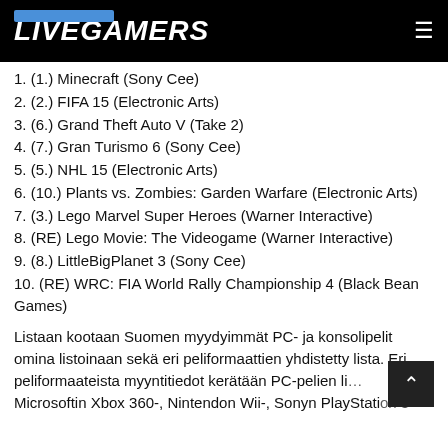LIVEGAMERS
1. (1.) Minecraft (Sony Cee)
2. (2.) FIFA 15 (Electronic Arts)
3. (6.) Grand Theft Auto V (Take 2)
4. (7.) Gran Turismo 6 (Sony Cee)
5. (5.) NHL 15 (Electronic Arts)
6. (10.) Plants vs. Zombies: Garden Warfare (Electronic Arts)
7. (3.) Lego Marvel Super Heroes (Warner Interactive)
8. (RE) Lego Movie: The Videogame (Warner Interactive)
9. (8.) LittleBigPlanet 3 (Sony Cee)
10. (RE) WRC: FIA World Rally Championship 4 (Black Bean Games)
Listaan kootaan Suomen myydyimmät PC- ja konsolipelit omina listoinaan sekä eri peliformaattien yhdistetty lista. Eri peliformaateista myyntitiedot kerätään PC-pelien li… Microsoftin Xbox 360-, Nintendon Wii-, Sonyn PlayStation 3 …